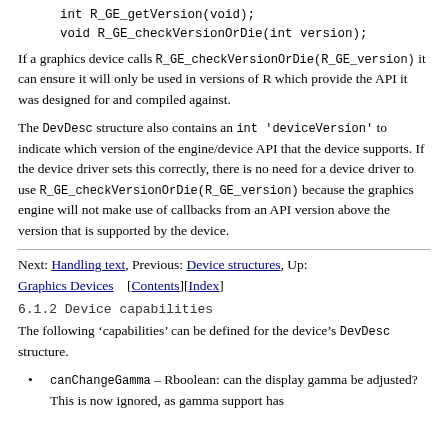int R_GE_getVersion(void);
void R_GE_checkVersionOrDie(int version);
If a graphics device calls R_GE_checkVersionOrDie(R_GE_version) it can ensure it will only be used in versions of R which provide the API it was designed for and compiled against.
The DevDesc structure also contains an int 'deviceVersion' to indicate which version of the engine/device API that the device supports. If the device driver sets this correctly, there is no need for a device driver to use R_GE_checkVersionOrDie(R_GE_version) because the graphics engine will not make use of callbacks from an API version above the version that is supported by the device.
Next: Handling text, Previous: Device structures, Up: Graphics Devices   [Contents][Index]
6.1.2 Device capabilities
The following ‘capabilities’ can be defined for the device’s DevDesc structure.
canChangeGamma – Rboolean: can the display gamma be adjusted? This is now ignored, as gamma support has been removed.